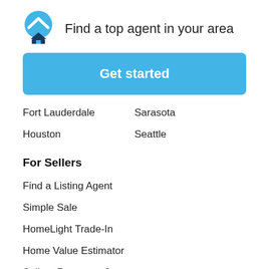[Figure (logo): HomeLight logo: blue circle with house icon]
Find a top agent in your area
Get started
Fort Lauderdale
Sarasota
Houston
Seattle
For Sellers
Find a Listing Agent
Simple Sale
HomeLight Trade-In
Home Value Estimator
Sellers Resource Center
Sell Your Home Fast